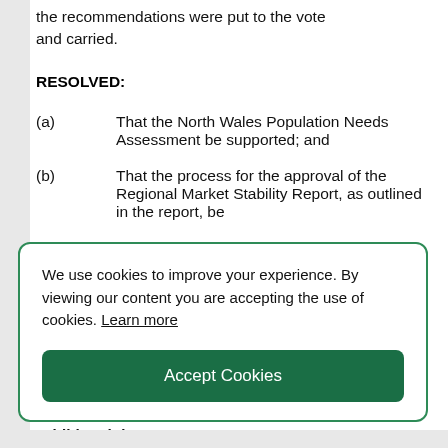the recommendations were put to the vote and carried.
RESOLVED:
(a)      That the North Wales Population Needs Assessment be supported; and
(b)      That the process for the approval of the Regional Market Stability Report, as outlined in the report, be
We use cookies to improve your experience. By viewing our content you are accepting the use of cookies. Learn more
Accept Cookies
Additional documents: